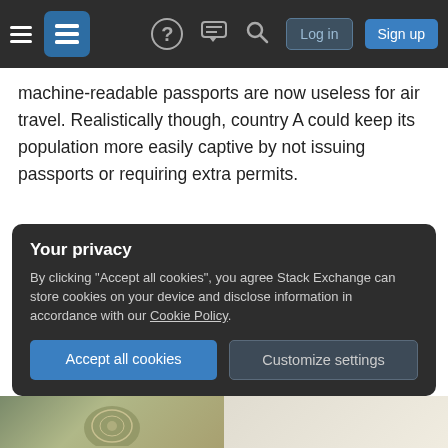Navigation bar with hamburger menu, Stack Exchange logo, help icon, chat icon, search icon, Log in button, Sign up button
machine-readable passports are now useless for air travel. Realistically though, country A could keep its population more easily captive by not issuing passports or requiring extra permits.
Another example is be Saudi Arabia, where women cannot get a passport without permission of their 'guardian', they also have an electronic authorization system where the guardians need to authorize travel.
Your privacy
By clicking "Accept all cookies", you agree Stack Exchange can store cookies on your device and disclose information in accordance with our Cookie Policy.
[Accept all cookies] [Customize settings]
[Figure (photo): Bottom image strip showing partial view of passports]